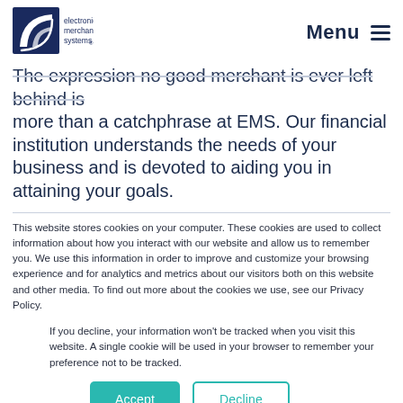electronic merchant systems | Menu
The expression no good merchant is ever left behind is more than a catchphrase at EMS. Our financial institution understands the needs of your business and is devoted to aiding you in attaining your goals.
This website stores cookies on your computer. These cookies are used to collect information about how you interact with our website and allow us to remember you. We use this information in order to improve and customize your browsing experience and for analytics and metrics about our visitors both on this website and other media. To find out more about the cookies we use, see our Privacy Policy.
If you decline, your information won't be tracked when you visit this website. A single cookie will be used in your browser to remember your preference not to be tracked.
Accept  Decline